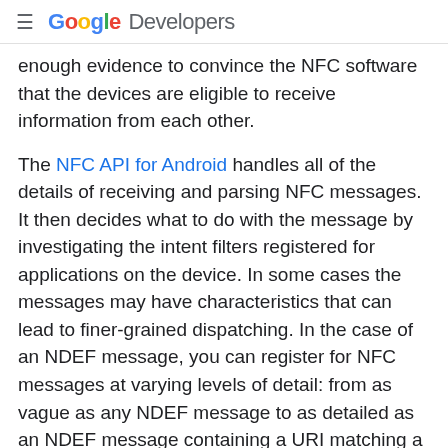Google Developers
enough evidence to convince the NFC software that the devices are eligible to receive information from each other.
The NFC API for Android handles all of the details of receiving and parsing NFC messages. It then decides what to do with the message by investigating the intent filters registered for applications on the device. In some cases the messages may have characteristics that can lead to finer-grained dispatching. In the case of an NDEF message, you can register for NFC messages at varying levels of detail: from as vague as any NDEF message to as detailed as an NDEF message containing a URI matching a given pattern. A pleasant result of this approach is that the operating system can have "catch all" applications for